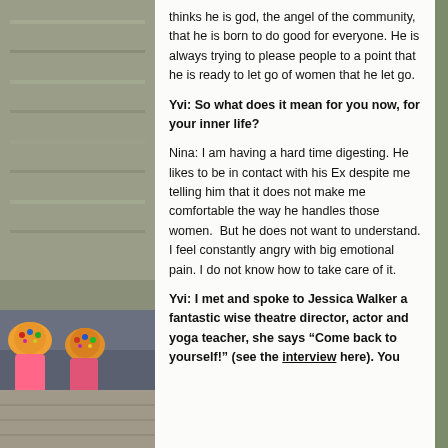[Figure (photo): Background photo of people in colorful swim caps in what appears to be a pool or outdoor water area, with a stone wall in the background. Visible on the left and bottom-left sides of the page.]
thinks he is god, the angel of the community, that he is born to do good for everyone. He is always trying to please people to a point that he is ready to let go of women that he let go.
Yvi: So what does it mean for you now, for your inner life?
Nina: I am having a hard time digesting. He likes to be in contact with his Ex despite me telling him that it does not make me comfortable the way he handles those women.  But he does not want to understand. I feel constantly angry with big emotional pain. I do not know how to take care of it.
Yvi: I met and spoke to Jessica Walker a fantastic wise theatre director, actor and yoga teacher, she says “Come back to yourself!” (see the interview here). You